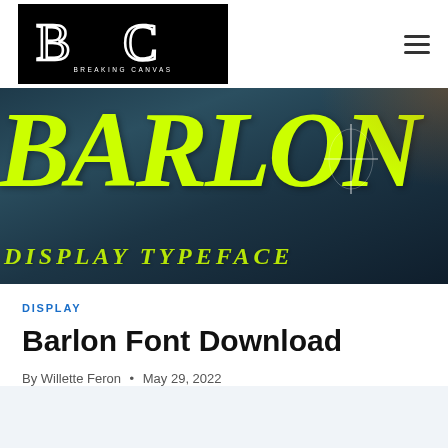BREAKING CANVAS
[Figure (photo): Hero image showing the word BARLON in large neon yellow/lime letters on a dark teal background, with 'DISPLAY TYPEFACE' below in smaller italic letters. A crosshair/star design element is visible on the right side.]
DISPLAY
Barlon Font Download
By Willette Feron • May 29, 2022